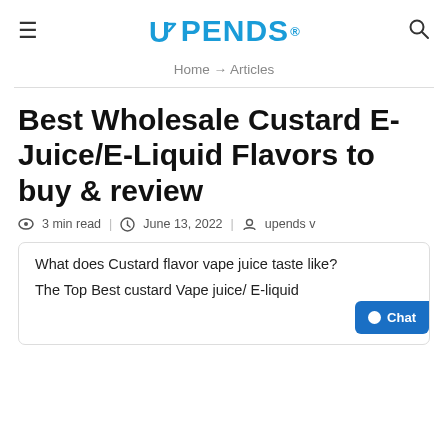≡  UPENDS®  🔍
Home → Articles
Best Wholesale Custard E-Juice/E-Liquid Flavors to buy & review
👁 3 min read  🕐 June 13, 2022  | 👤 upends v
What does Custard flavor vape juice taste like?

The Top Best custard Vape juice/ E-liquid